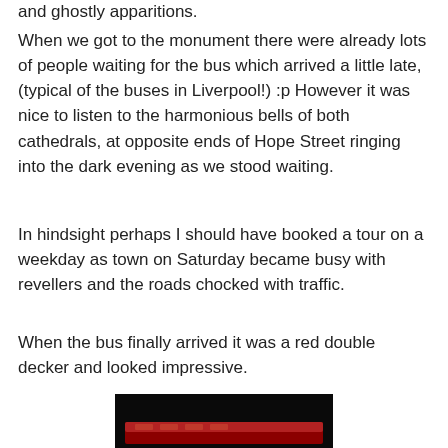and ghostly apparitions.
When we got to the monument there were already lots of people waiting for the bus which arrived a little late, (typical of the buses in Liverpool!) :p However it was nice to listen to the harmonious bells of both cathedrals, at opposite ends of Hope Street ringing into the dark evening as we stood waiting.
In hindsight perhaps I should have booked a tour on a weekday as town on Saturday became busy with revellers and the roads chocked with traffic.
When the bus finally arrived it was a red double decker and looked impressive.
[Figure (photo): A dark nighttime photo showing what appears to be a red double decker bus, partially visible at the bottom of the page with a very dark background.]